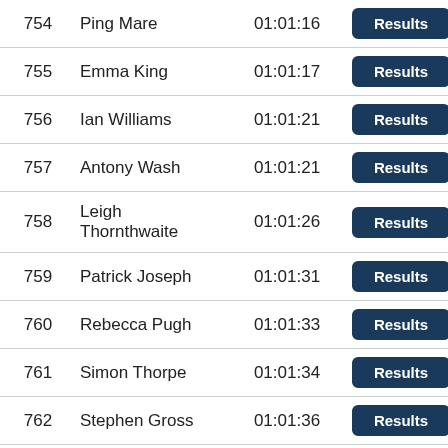| # | Name | Time |  |
| --- | --- | --- | --- |
| 754 | Ping Mare | 01:01:16 | Results |
| 755 | Emma King | 01:01:17 | Results |
| 756 | Ian Williams | 01:01:21 | Results |
| 757 | Antony Wash | 01:01:21 | Results |
| 758 | Leigh Thornthwaite | 01:01:26 | Results |
| 759 | Patrick Joseph | 01:01:31 | Results |
| 760 | Rebecca Pugh | 01:01:33 | Results |
| 761 | Simon Thorpe | 01:01:34 | Results |
| 762 | Stephen Gross | 01:01:36 | Results |
| 763 | Jonathan Wood | 01:01:37 | Results |
| 764 | Mark Ainscough | 01:01:41 | Results |
| 765 | Andrea Burnett | 01:01:43 | Results |
| 766 | Khadija Absar | 01:01:46 | R… |
| 767 | Lydia Sidebotham | 01:01:50 | Results |